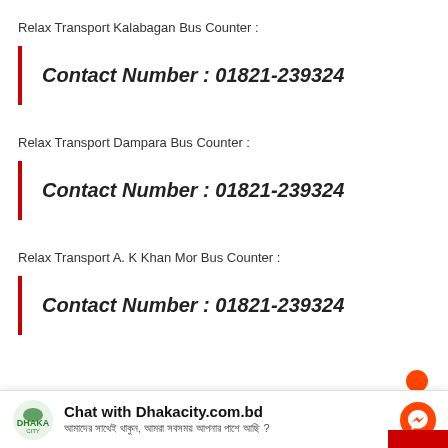Relax Transport Kalabagan Bus Counter :
Contact Number : 01821-239324
Relax Transport Dampara Bus Counter :
Contact Number : 01821-239324
Relax Transport A. K Khan Mor Bus Counter :
Contact Number : 01821-239324
Chat with Dhakacity.com.bd